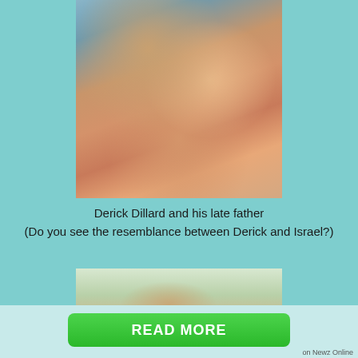[Figure (photo): Old photograph of Derick Dillard as a young child being hugged by his late father. The child is wearing a red and orange life jacket. Warm tones, outdoor setting near water.]
Derick Dillard and his late father
(Do you see the resemblance between Derick and Israel?)
[Figure (photo): Partial photograph showing a man outdoors with trees and water in the background, partially obscured by a READ MORE button overlay.]
READ MORE
on Newz Online